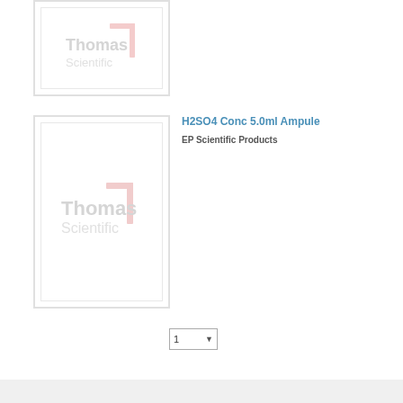[Figure (logo): Thomas Scientific logo watermark in product image box (top, partially cropped)]
H2SO4 Conc 5.0ml Ampule
EP Scientific Products
[Figure (logo): Thomas Scientific logo watermark in product image box (bottom)]
1
[Figure (other): Gray footer bar]